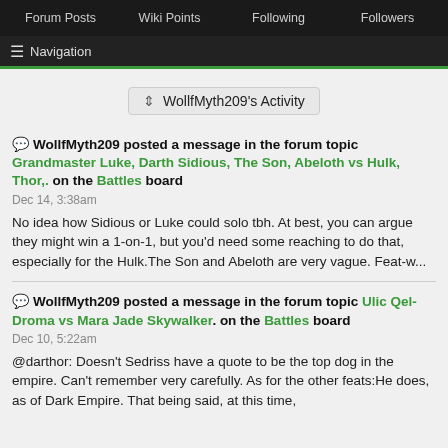Forum Posts | Wiki Points | Following | Followers
Navigation
WollfMyth209's Activity
WollfMyth209 posted a message in the forum topic Grandmaster Luke, Darth Sidious, The Son, Abeloth vs Hulk, Thor,. on the Battles board
Dec 14, 3:38am
No idea how Sidious or Luke could solo tbh. At best, you can argue they might win a 1-on-1, but you'd need some reaching to do that, especially for the Hulk.The Son and Abeloth are very vague. Feat-w...
WollfMyth209 posted a message in the forum topic Ulic Qel-Droma vs Mara Jade Skywalker. on the Battles board
Dec 10, 5:22am
@darthor: Doesn't Sedriss have a quote to be the top dog in the empire. Can't remember very carefully. As for the other feats:He does, as of Dark Empire. That being said, at this time,